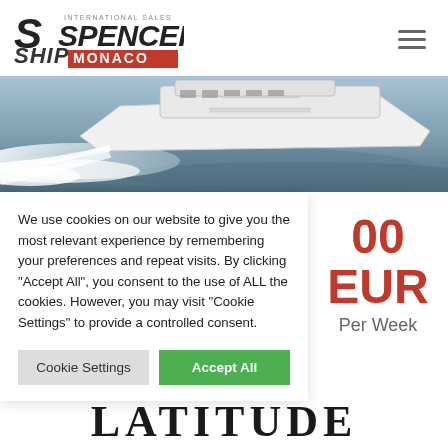[Figure (logo): Spencer Ship Monaco — International Sales logo with red and grey text]
[Figure (photo): Aerial/side view of a large white luxury motor yacht speeding through choppy water, creating white wake]
We use cookies on our website to give you the most relevant experience by remembering your preferences and repeat visits. By clicking "Accept All", you consent to the use of ALL the cookies. However, you may visit "Cookie Settings" to provide a controlled consent.
Cookie Settings   Accept All
00 EUR
Per Week
LATITUDE